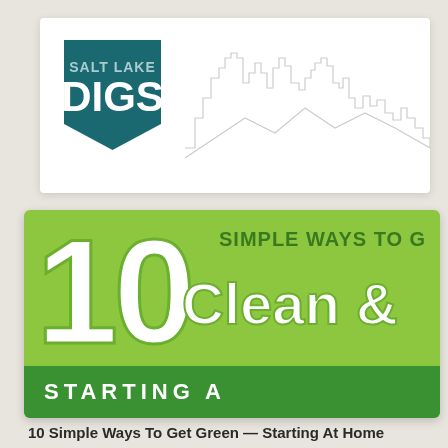[Figure (logo): Salt Lake Digs logo — dark teal pentagon/badge shape with 'SALT LAKE' in small caps and 'DIGS' in large bold white letters]
[Figure (illustration): Light gray outline illustration of a city skyline (Salt Lake City)]
[Figure (infographic): Green infographic banner with large white '10', text 'SIMPLE WAYS TO G' in dark green, 'Clean &' in large white text, and dark green bottom strip with 'STARTING A' in white spaced caps]
10 Simple Ways To Get Green — Starting At Home